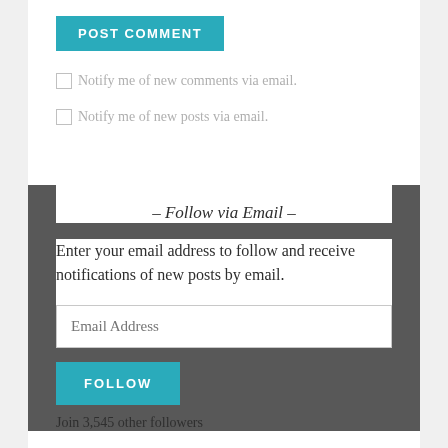POST COMMENT
Notify me of new comments via email.
Notify me of new posts via email.
- Follow via Email -
Enter your email address to follow and receive notifications of new posts by email.
Email Address
FOLLOW
Join 3,545 other followers